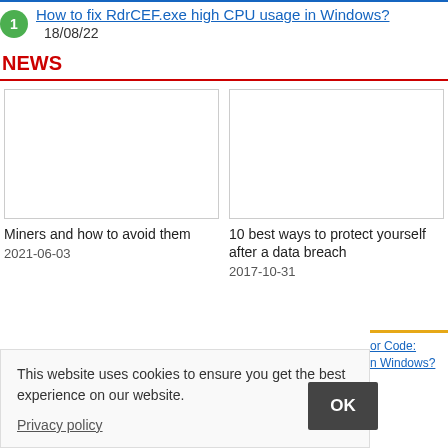How to fix RdrCEF.exe high CPU usage in Windows? 18/08/22
NEWS
[Figure (other): Empty white image placeholder for news article 'Miners and how to avoid them']
Miners and how to avoid them
2021-06-03
[Figure (other): Empty white image placeholder for news article '10 best ways to protect yourself after a data breach']
10 best ways to protect yourself after a data breach
2017-10-31
This website uses cookies to ensure you get the best experience on our website.
Privacy policy
OK
or Code:
n Windows?